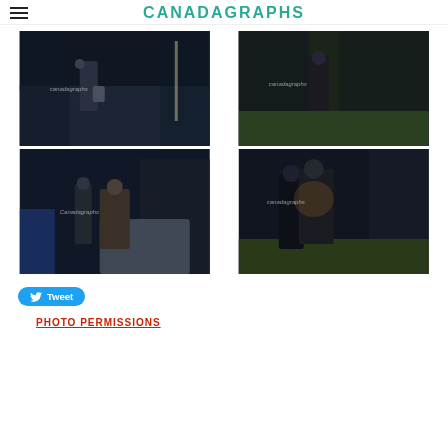CANADAGRAPHS
[Figure (photo): Night scene photo with watermark 'canadagraphs', showing figures near water, dark tones]
[Figure (photo): Night scene photo with watermark 'canadagraphs', showing figure outdoors near greenery, dark tones]
[Figure (photo): Night scene photo with watermark 'Canadagraphs', showing people near vehicle and equipment, dark tones]
[Figure (photo): Night scene photo with watermark 'canadagraphs', showing two people close together, dark tones with greenery]
Tweet
PHOTO PERMISSIONS